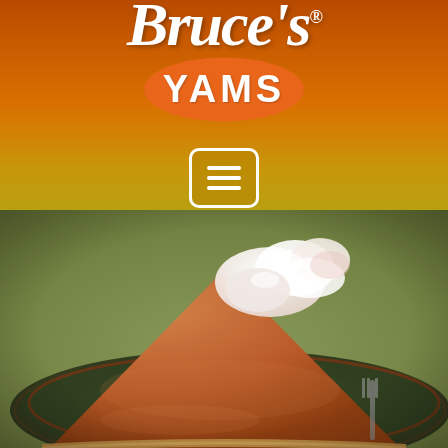[Figure (logo): Bruce's Yams logo with cursive 'Bruce's' text in white above an orange oval badge with 'YAMS' in bold white letters]
[Figure (other): Hamburger/menu icon: white rounded rectangle with three horizontal white lines]
[Figure (photo): Close-up photo of a slice of yam/sweet potato pie on a decorative plate with whipped cream on top, warm orange-brown color]